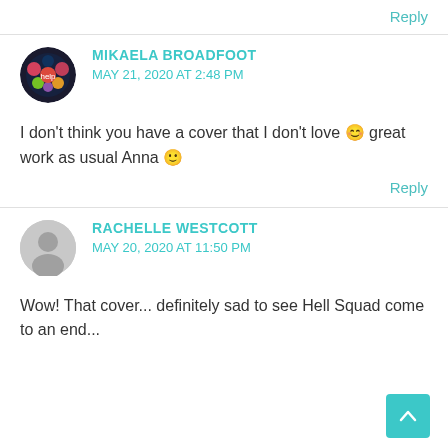Reply
MIKAELA BROADFOOT
MAY 21, 2020 AT 2:48 PM
I don't think you have a cover that I don't love 😊 great work as usual Anna 🙂
Reply
RACHELLE WESTCOTT
MAY 20, 2020 AT 11:50 PM
Wow! That cover... definitely sad to see Hell Squad come to an end...